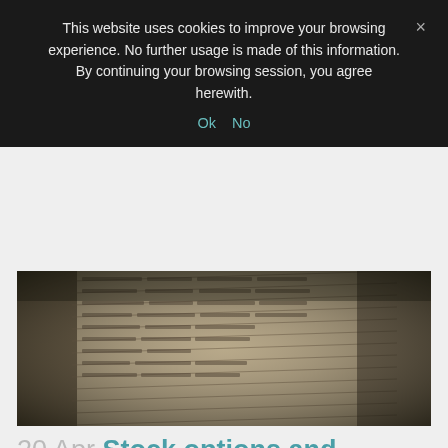This website uses cookies to improve your browsing experience. No further usage is made of this information. By continuing your browsing session, you agree herewith.
Ok   No
[Figure (photo): Close-up photograph of an open book or ledger, slightly blurred, showing rows of text and numbers on aged or tinted paper, with a dark vignette effect.]
20 Apr Stock options and management companies: new Circular Letter